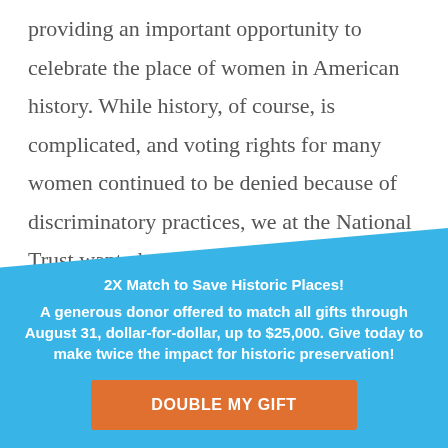providing an important opportunity to celebrate the place of women in American history. While history, of course, is complicated, and voting rights for many women continued to be denied because of discriminatory practices, we at the National Trust wanted to tell the full history—to uncover and uplift women across the centuries whose vision, passion,
× 2X Match to Save Historic Places! A generous donor offered to match all gifts through August 31, dollar-for-dollar, up to $25,000. Give today to make twice the impact for historic preservation! DOUBLE MY GIFT